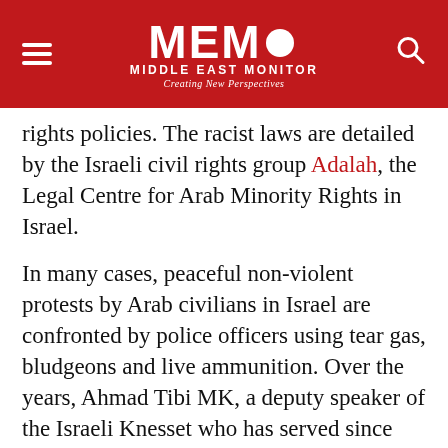MEMO MIDDLE EAST MONITOR — Creating New Perspectives
rights policies. The racist laws are detailed by the Israeli civil rights group Adalah, the Legal Centre for Arab Minority Rights in Israel.
In many cases, peaceful non-violent protests by Arab civilians in Israel are confronted by police officers using tear gas, bludgeons and live ammunition. Over the years, Ahmad Tibi MK, a deputy speaker of the Israeli Knesset who has served since 1999, has been attacked by Israeli police and settlers while protesting against state racism. Tibi was beaten by police last May, for example, when he joined other Israeli-Arab citizens who protested against the